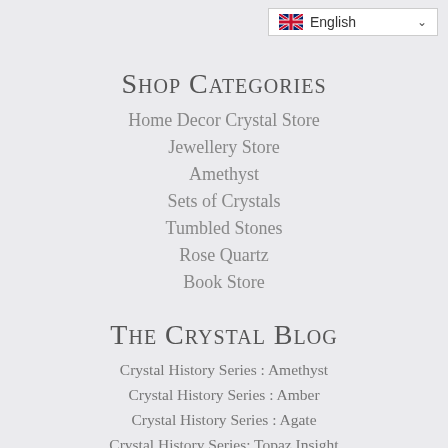English
Shop Categories
Home Decor Crystal Store
Jewellery Store
Amethyst
Sets of Crystals
Tumbled Stones
Rose Quartz
Book Store
The Crystal Blog
Crystal History Series : Amethyst
Crystal History Series : Amber
Crystal History Series : Agate
Crystal History Series: Topaz Insight
Crystal History Series: Obsidian Insight